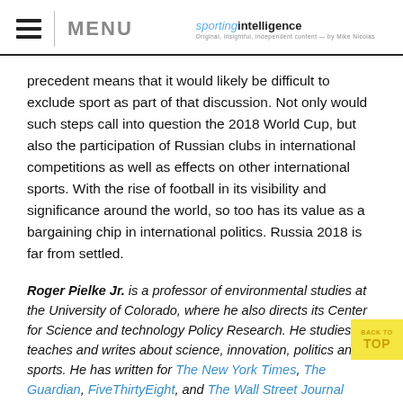MENU | sportingintelligence
precedent means that it would likely be difficult to exclude sport as part of that discussion. Not only would such steps call into question the 2018 World Cup, but also the participation of Russian clubs in international competitions as well as effects on other international sports. With the rise of football in its visibility and significance around the world, so too has its value as a bargaining chip in international politics. Russia 2018 is far from settled.
Roger Pielke Jr. is a professor of environmental studies at the University of Colorado, where he also directs its Center for Science and technology Policy Research. He studies, teaches and writes about science, innovation, politics and sports. He has written for The New York Times, The Guardian, FiveThirtyEight, and The Wall Street Journal among many other places. He is thrilled to join Sportingintelligence as a regular contributor. Follow Roger on